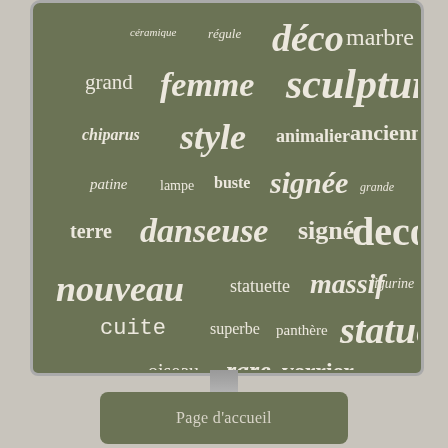[Figure (other): Word cloud on a dark olive green screen/monitor display showing French words related to art and sculpture, with varying font sizes indicating frequency. Words include: céramique, régule, déco, marbre, grand, femme, sculpture, chiparus, style, animalier, ancienne, patine, lampe, buste, signée, grande, terre, danseuse, signé, deco, nouveau, statuette, massif, figurine, cuite, superbe, panthère, statue, sexy, oiseau, rare, verrier, bronze, belle, signe]
Page d'accueil